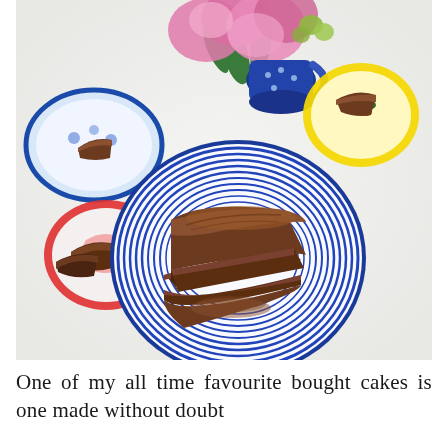[Figure (photo): Overhead view of a sliced brown loaf cake on a blue and white striped plate, surrounded by colorful decorative plates and pink flowers in a blue vase, on a white surface.]
One of my all time favourite bought cakes is one made without doubt